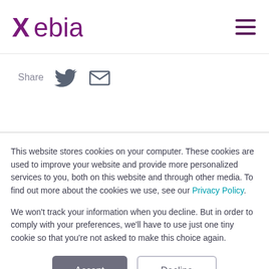Xebia
Share
This website stores cookies on your computer. These cookies are used to improve your website and provide more personalized services to you, both on this website and through other media. To find out more about the cookies we use, see our Privacy Policy.
We won't track your information when you decline. But in order to comply with your preferences, we'll have to use just one tiny cookie so that you're not asked to make this choice again.